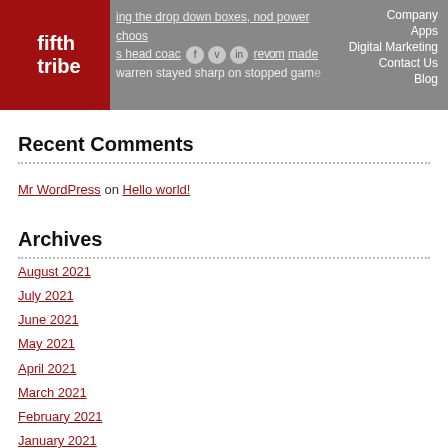fifth tribe | Company Apps Digital Marketing Contact Us Blog
Recent Comments
Mr WordPress on Hello world!
Archives
August 2021
July 2021
June 2021
May 2021
April 2021
March 2021
February 2021
January 2021
December 2020
November 2020
October 2020
September 2020